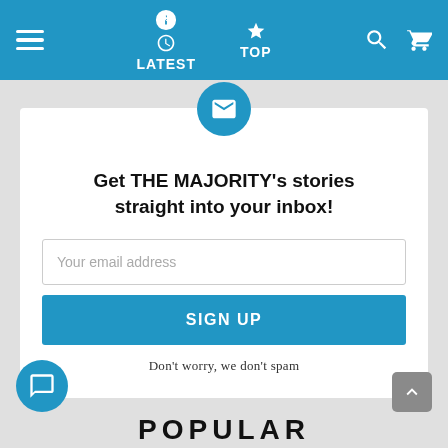LATEST | TOP
[Figure (screenshot): Email subscription signup widget with envelope icon, headline, email input field, sign up button, and spam disclaimer]
Get THE MAJORITY's stories straight into your inbox!
Your email address
SIGN UP
Don't worry, we don't spam
POPULAR